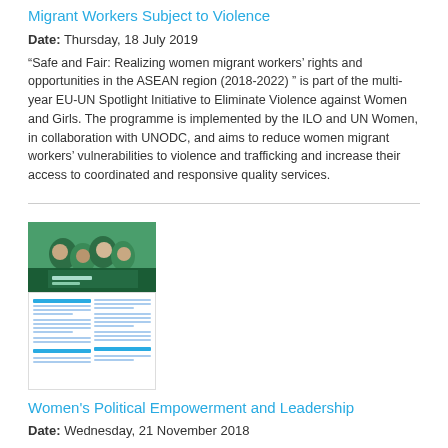Migrant Workers Subject to Violence
Date: Thursday, 18 July 2019
“Safe and Fair: Realizing women migrant workers’ rights and opportunities in the ASEAN region (2018-2022) ” is part of the multi-year EU-UN Spotlight Initiative to Eliminate Violence against Women and Girls. The programme is implemented by the ILO and UN Women, in collaboration with UNODC, and aims to reduce women migrant workers’ vulnerabilities to violence and trafficking and increase their access to coordinated and responsive quality services.
[Figure (photo): Thumbnail image of a document about Women's Political Empowerment and Leadership, showing a photo of women at the top and document text below]
Women's Political Empowerment and Leadership
Date: Wednesday, 21 November 2018
Gender equality lies at the core of human rights and is the bedrock from which sustainable development can be achieved. Women and